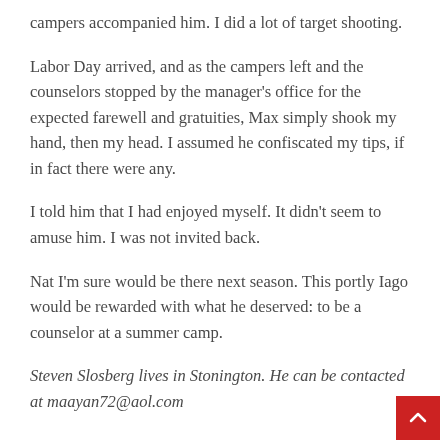campers accompanied him. I did a lot of target shooting.
Labor Day arrived, and as the campers left and the counselors stopped by the manager's office for the expected farewell and gratuities, Max simply shook my hand, then my head. I assumed he confiscated my tips, if in fact there were any.
I told him that I had enjoyed myself. It didn't seem to amuse him. I was not invited back.
Nat I'm sure would be there next season. This portly Iago would be rewarded with what he deserved: to be a counselor at a summer camp.
Steven Slosberg lives in Stonington. He can be contacted at maayan72@aol.com